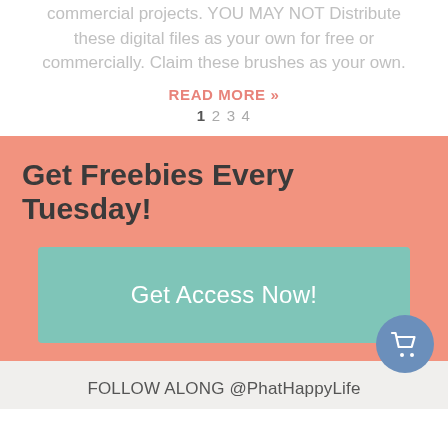commercial projects. YOU MAY NOT Distribute these digital files as your own for free or commercially. Claim these brushes as your own.
READ MORE »
1  2  3  4
Get Freebies Every Tuesday!
Get Access Now!
FOLLOW ALONG @PhatHappyLife